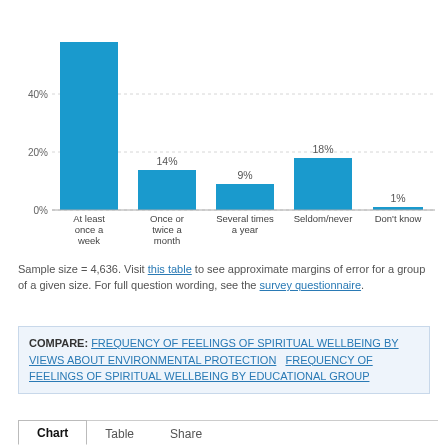[Figure (bar-chart): Frequency of feelings of spiritual wellbeing]
Sample size = 4,636. Visit this table to see approximate margins of error for a group of a given size. For full question wording, see the survey questionnaire.
COMPARE: FREQUENCY OF FEELINGS OF SPIRITUAL WELLBEING BY VIEWS ABOUT ENVIRONMENTAL PROTECTION   FREQUENCY OF FEELINGS OF SPIRITUAL WELLBEING BY EDUCATIONAL GROUP